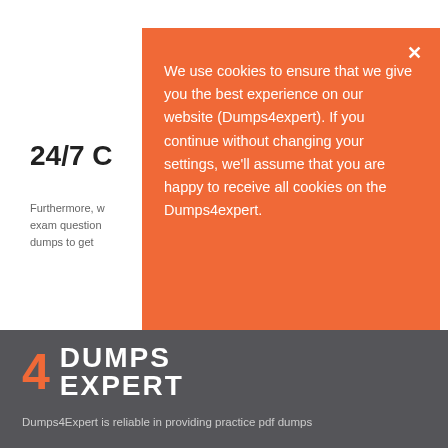24/7 C
Furthermore, w exam question dumps to get
We use cookies to ensure that we give you the best experience on our website (Dumps4expert). If you continue without changing your settings, we'll assume that you are happy to receive all cookies on the Dumps4expert.
[Figure (logo): Dumps4Expert logo with orange number 4 and white DUMPS EXPERT text on dark gray background]
Dumps4Expert is reliable in providing practice pdf dumps